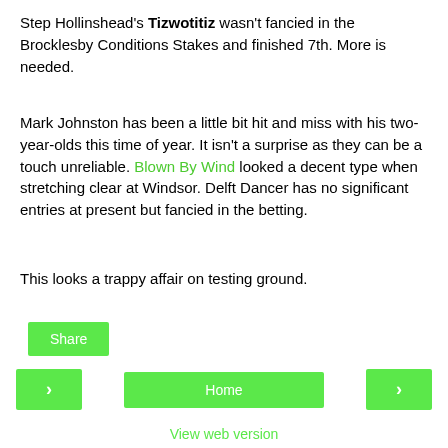Step Hollinshead's Tizwotitiz wasn't fancied in the Brocklesby Conditions Stakes and finished 7th. More is needed.
Mark Johnston has been a little bit hit and miss with his two-year-olds this time of year. It isn't a surprise as they can be a touch unreliable. Blown By Wind looked a decent type when stretching clear at Windsor. Delft Dancer has no significant entries at present but fancied in the betting.
This looks a trappy affair on testing ground.
Share
< Home > View web version